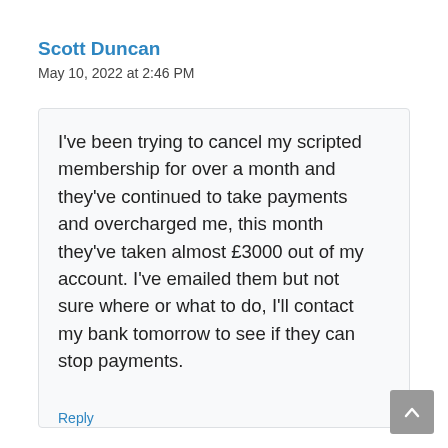Scott Duncan
May 10, 2022 at 2:46 PM
I've been trying to cancel my scripted membership for over a month and they've continued to take payments and overcharged me, this month they've taken almost £3000 out of my account. I've emailed them but not sure where or what to do, I'll contact my bank tomorrow to see if they can stop payments.
Reply